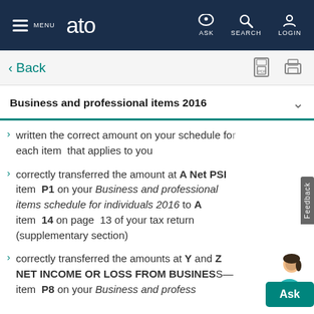ATO | MENU | ASK | SEARCH | LOGIN
< Back
Business and professional items 2016
written the correct amount on your schedule for each item that applies to you
correctly transferred the amount at A Net PSI item P1 on your Business and professional items schedule for individuals 2016 to A item 14 on page 13 of your tax return (supplementary section)
correctly transferred the amounts at Y and Z NET INCOME OR LOSS FROM BUSINESS item P8 on your Business and profess...